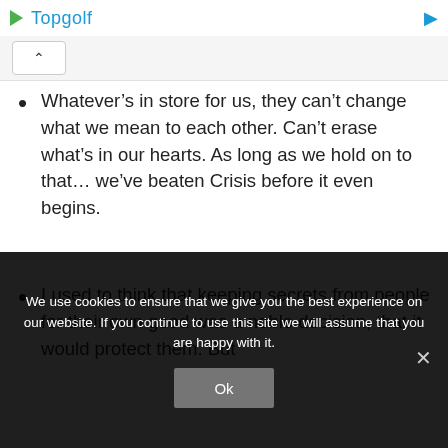Topgolf
Whatever’s in store for us, they can’t change what we mean to each other. Can’t erase what’s in our hearts. As long as we hold on to that… we’ve beaten Crisis before it even begins.
I used to think that keeping secrets from people for their own good was a noble decision, that it would protect them. But
We use cookies to ensure that we give you the best experience on our website. If you continue to use this site we will assume that you are happy with it.